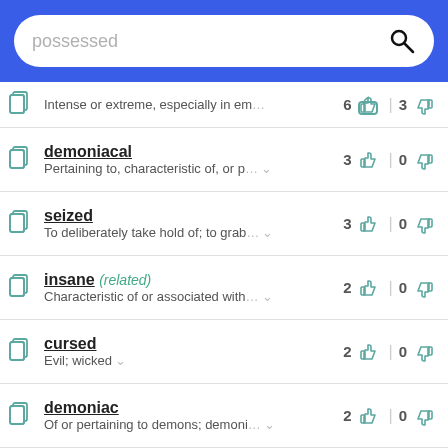possessed
Intense or extreme, especially in em…
demoniacal — Pertaining to, characteristic of, or p…
seized — To deliberately take hold of; to grab…
insane (related) — Characteristic of or associated with…
cursed — Evil; wicked
demoniac — Of or pertaining to demons; demoni…